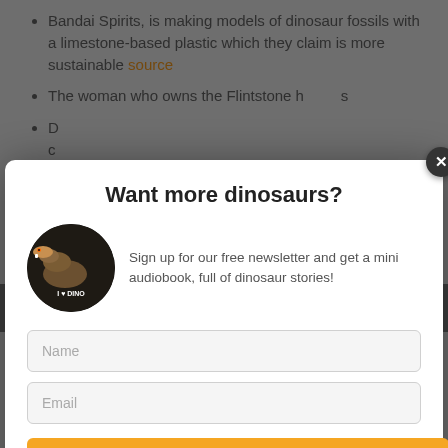Bandai Spirits, is making models of dinosaur fossils with a limestone-based plastic which they claim is more sustainable source
The woman who owns the Flintstone house s... to ...
...wn c...
A ... t the D...
We use ... nce on our web... hat you
[Figure (screenshot): Newsletter signup modal popup with title 'Want more dinosaurs?', dinosaur image, text 'Sign up for our free newsletter and get a mini audiobook, full of dinosaur stories!', Name and Email input fields, and orange Subscribe button]
A new image from Jurassic World: Dominion shows some of the "practical models" used in the film source